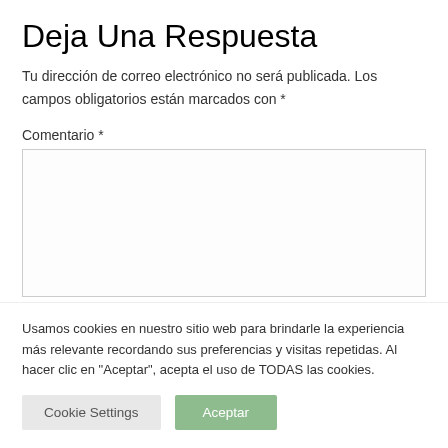Deja Una Respuesta
Tu dirección de correo electrónico no será publicada. Los campos obligatorios están marcados con *
Comentario *
[Figure (other): Empty comment textarea input box]
Usamos cookies en nuestro sitio web para brindarle la experiencia más relevante recordando sus preferencias y visitas repetidas. Al hacer clic en "Aceptar", acepta el uso de TODAS las cookies.
Cookie Settings | Aceptar